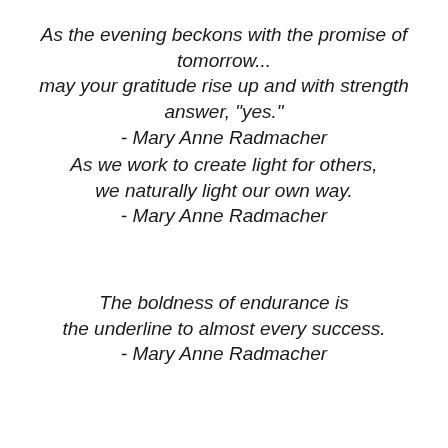As the evening beckons with the promise of tomorrow... may your gratitude rise up and with strength answer, "yes." - Mary Anne Radmacher
As we work to create light for others, we naturally light our own way. - Mary Anne Radmacher
The boldness of endurance is the underline to almost every success. - Mary Anne Radmacher